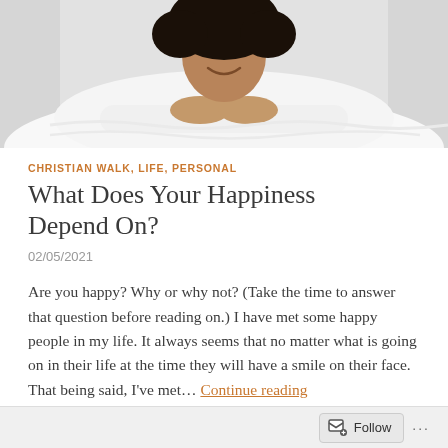[Figure (photo): A smiling woman with natural hair lying down with her chin resting on her hands, wearing a white sweater, against a light background.]
CHRISTIAN WALK, LIFE, PERSONAL
What Does Your Happiness Depend On?
02/05/2021
Are you happy? Why or why not? (Take the time to answer that question before reading on.) I have met some happy people in my life. It always seems that no matter what is going on in their life at the time they will have a smile on their face. That being said, I've met… Continue reading